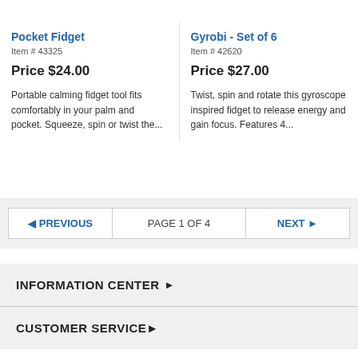Pocket Fidget
Item # 43325
Price $24.00
Portable calming fidget tool fits comfortably in your palm and pocket. Squeeze, spin or twist the...
Gyrobi - Set of 6
Item # 42620
Price $27.00
Twist, spin and rotate this gyroscope inspired fidget to release energy and gain focus. Features 4...
◄ PREVIOUS   PAGE 1 OF 4   NEXT ►
INFORMATION CENTER ▶
CUSTOMER SERVICE ▶